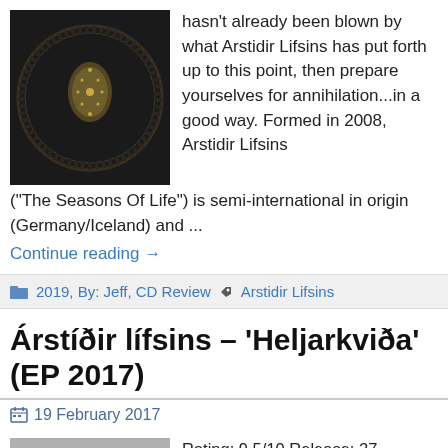[Figure (photo): Dark album cover artwork with ornate circular design and teardrop/triangle gold ornament in center]
hasn't already been blown by what Arstidir Lifsins has put forth up to this point, then prepare yourselves for annihilation...in a good way. Formed in 2008, Arstidir Lifsins ("The Seasons Of Life") is semi-international in origin (Germany/Iceland) and ...
Continue reading →
2019, By: Jeff, CD Review  Arstidir Lifsins
Árstíðir lífsins – 'Heljarkviða' (EP 2017)
19 February 2017
[Figure (photo): Album cover or related image placeholder]
Rating: 9.5/10 Release: 27 January 2017 Label: Van records I recently put together a short list of my